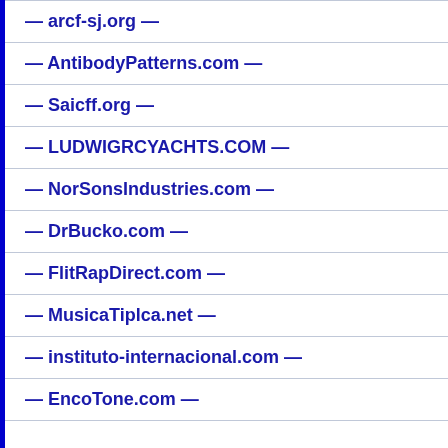— arcf-sj.org —
— AntibodyPatterns.com —
— Saicff.org —
— LUDWIGRCYACHTS.COM —
— NorSonsIndustries.com —
— DrBucko.com —
— FlitRapDirect.com —
— MusicaTiplca.net —
— instituto-internacional.com —
— EncoTone.com —